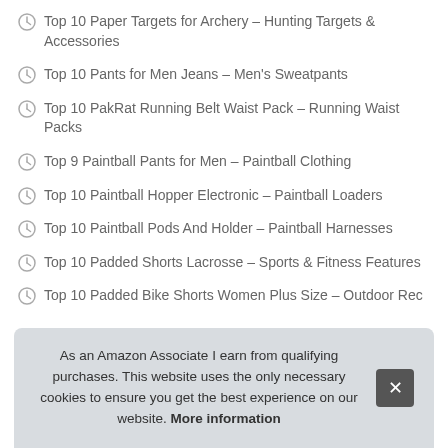Top 10 Paper Targets for Archery – Hunting Targets & Accessories
Top 10 Pants for Men Jeans – Men's Sweatpants
Top 10 PakRat Running Belt Waist Pack – Running Waist Packs
Top 9 Paintball Pants for Men – Paintball Clothing
Top 10 Paintball Hopper Electronic – Paintball Loaders
Top 10 Paintball Pods And Holder – Paintball Harnesses
Top 10 Padded Shorts Lacrosse – Sports & Fitness Features
Top 10 Padded Bike Shorts Women Plus Size – Outdoor Rec…
As an Amazon Associate I earn from qualifying purchases. This website uses the only necessary cookies to ensure you get the best experience on our website. More information